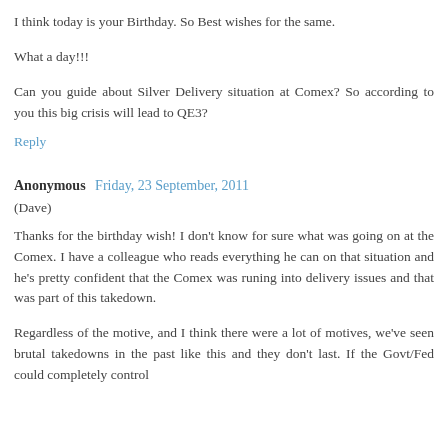I think today is your Birthday. So Best wishes for the same.
What a day!!!
Can you guide about Silver Delivery situation at Comex? So according to you this big crisis will lead to QE3?
Reply
Anonymous  Friday, 23 September, 2011
(Dave)
Thanks for the birthday wish! I don't know for sure what was going on at the Comex. I have a colleague who reads everything he can on that situation and he's pretty confident that the Comex was runing into delivery issues and that was part of this takedown.
Regardless of the motive, and I think there were a lot of motives, we've seen brutal takedowns in the past like this and they don't last. If the Govt/Fed could completely control